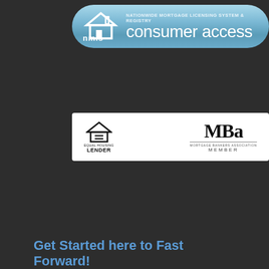[Figure (logo): NMLS Consumer Access banner with blue rounded rectangle background, NMLS logo on left and text 'NATIONWIDE MORTGAGE LICENSING SYSTEM & REGISTRY consumer access' on right]
[Figure (logo): White banner with Equal Housing Lender logo on left and MBA Mortgage Bankers Association Member logo on right]
Get Started here to Fast Forward!
[Figure (logo): Fast Forward Mortgage Approval logo box with red border, double red arrows, bold text FAST FORWARD, red banner reading Mortgage Approval, and tagline 'Get Approved, Find Your Home >>> Fast Forward to Closing']
[Figure (logo): Get Started Click Here button with red curved arrow icon on left and text 'Get Started' in italic and 'Click Here' in green bold italic]